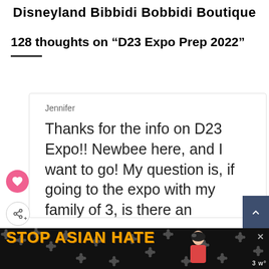Disneyland Bibbidi Bobbidi Boutique
128 thoughts on “D23 Expo Prep 2022”
Jennifer

Thanks for the info on D23 Expo!! Newbee here, and I want to go! My question is, if going to the expo with my family of 3, is there an
[Figure (other): Ad banner: STOP ASIAN HATE with floral background and woman character illustration]
WHAT'S NEXT → What's New at Disneyland...